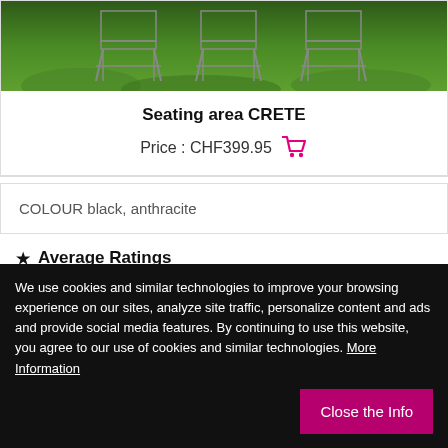[Figure (photo): Outdoor seating chairs with metal frames on green grass background]
Seating area CRETE
Price : CHF399.95
COLOUR black, anthracite
★ Average Ratings
Excellent
We use cookies and similar technologies to improve your browsing experience on our sites, analyze site traffic, personalize content and ads and provide social media features. By continuing to use this website, you agree to our use of cookies and similar technologies. More Information